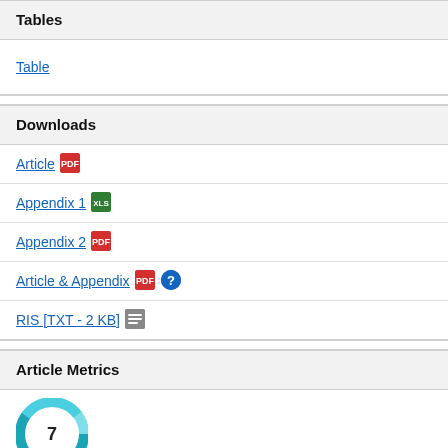Tables
Table
Downloads
Article
Appendix 1
Appendix 2
Article & Appendix
RIS [TXT - 2 KB]
Article Metrics
[Figure (other): Article metrics donut chart showing the number 7]